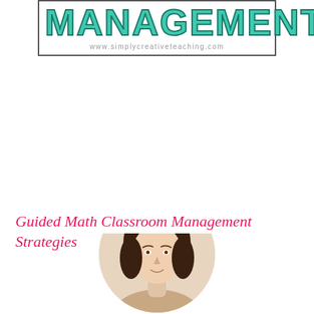[Figure (logo): Logo banner with large teal text 'MANAGEMENT' and URL www.simplycreativeteaching.com inside a rectangular border]
Guided Math Classroom Management Strategies
[Figure (photo): Circular cropped headshot photo of a woman at the bottom of the page]